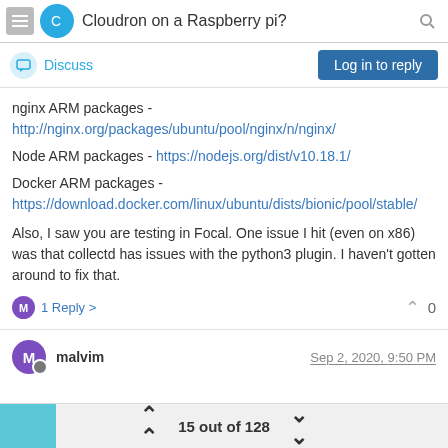Cloudron on a Raspberry pi?
Discuss
Log in to reply
nginx ARM packages - http://nginx.org/packages/ubuntu/pool/nginx/n/nginx/
Node ARM packages - https://nodejs.org/dist/v10.18.1/
Docker ARM packages - https://download.docker.com/linux/ubuntu/dists/bionic/pool/stable/
Also, I saw you are testing in Focal. One issue I hit (even on x86) was that collectd has issues with the python3 plugin. I haven't gotten around to fix that.
1 Reply
0
malvim  Sep 2, 2020, 9:50 PM
15 out of 128